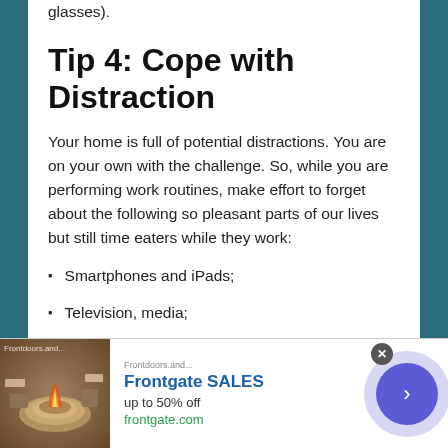glasses).
Tip 4: Cope with Distraction
Your home is full of potential distractions. You are on your own with the challenge. So, while you are performing work routines, make effort to forget about the following so pleasant parts of our lives but still time eaters while they work:
Smartphones and iPads;
Television, media;
Social media;
Household tasks;
[Figure (other): Advertisement banner for Frontgate SALES with outdoor furniture/fire pit image, 'up to 50% off', frontgate.com link, close button, and navigation arrow button]